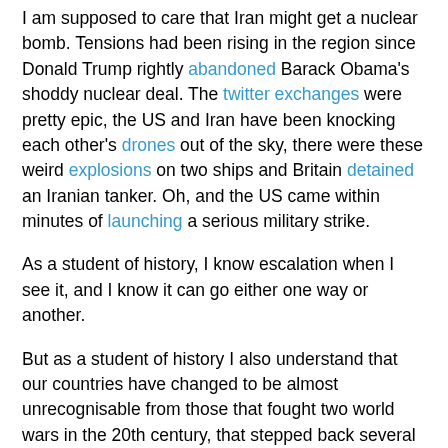I am supposed to care that Iran might get a nuclear bomb. Tensions had been rising in the region since Donald Trump rightly abandoned Barack Obama's shoddy nuclear deal. The twitter exchanges were pretty epic, the US and Iran have been knocking each other's drones out of the sky, there were these weird explosions on two ships and Britain detained an Iranian tanker. Oh, and the US came within minutes of launching a serious military strike.
As a student of history, I know escalation when I see it, and I know it can go either one way or another.
But as a student of history I also understand that our countries have changed to be almost unrecognisable from those that fought two world wars in the 20th century, that stepped back several times from the nuclear precipice with the Soviets, and even from those that went to war with Iraq twice.